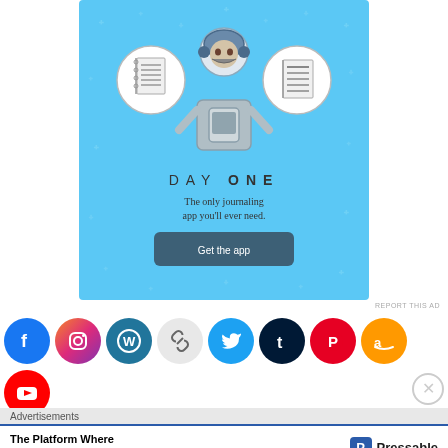[Figure (illustration): Day One journaling app advertisement banner with light blue background, cartoon figure holding phone flanked by notebook icons, title 'DAY ONE', tagline 'The only journaling app you'll ever need.', and 'Get the app' button]
REPORT THIS AD
[Figure (logo): Row of social media icon buttons: Facebook, Instagram, WordPress, Link, Twitter, Tumblr, Pinterest, Amazon, YouTube]
Advertisements
[Figure (illustration): Pressable advertisement: 'The Platform Where WordPress Works Best' with Pressable logo]